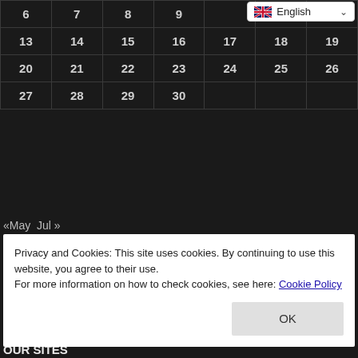| 6 | 7 | 8 | 9 |  |  |  |
| 13 | 14 | 15 | 16 | 17 | 18 | 19 |
| 20 | 21 | 22 | 23 | 24 | 25 | 26 |
| 27 | 28 | 29 | 30 |  |  |  |
«May  Jul »
POPULAR NEWS
Istanbul Metrobus Stations and Map of Metrobus
Gebze Halkalı Marmaray Stations and Timetables
IZBAN Tepekoy Izmir Bus Stations and Map
Cities Without Railway
Privacy and Cookies: This site uses cookies. By continuing to use this website, you agree to their use.
For more information on how to check cookies, see here: Cookie Policy
OUR SITES